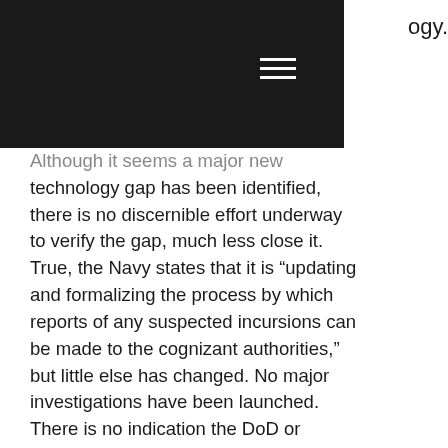ogy.
Although it seems a major new technology gap has been identified, there is no discernible effort underway to verify the gap, much less close it. True, the Navy states that it is “updating and formalizing the process by which reports of any suspected incursions can be made to the cognizant authorities,” but little else has changed. No major investigations have been launched. There is no indication the DoD or intelligence community leadership is engaged. And there is still no process for collecting and integrating pertinent information about UFO/UAPs from the myriad agencies and departments that possess it (NASA, the National...